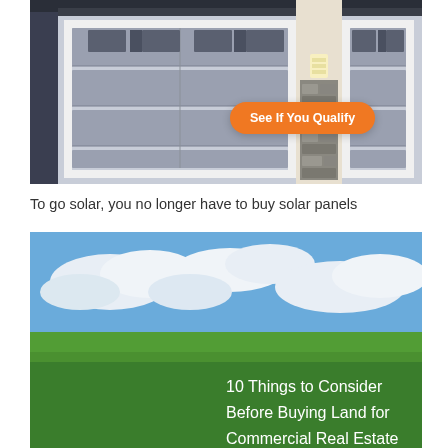[Figure (photo): Photo of a residential garage with two gray garage doors, white trim, a stone pillar with a light fixture, and a dark shingle roof. An orange pill-shaped button reads 'See If You Qualify'.]
To go solar, you no longer have to buy solar panels
[Figure (photo): Photo of a green field under a partly cloudy blue sky, with a green banner overlay at the bottom containing white bold text reading '10 Things to Consider Before Buying Land for Commercial Real Estate'.]